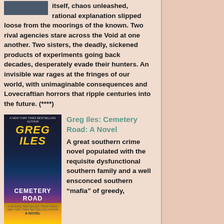itself, chaos unleashed, rational explanation slipped loose from the moorings of the known. Two rival agencies stare across the Void at one another. Two sisters, the deadly, sickened products of experiments going back decades, desperately evade their hunters. An invisible war rages at the fringes of our world, with unimaginable consequences and Lovecraftian horrors that ripple centuries into the future. (****)
Greg Iles: Cemetery Road: A Novel
A great southern crime novel populated with the requisite dysfunctional southern family and a well ensconced southern “mafia” of greedy, powerful men. There’s a murder or two and some near misses. Good book. Iles is a gooooood writer. Pat Conroy on